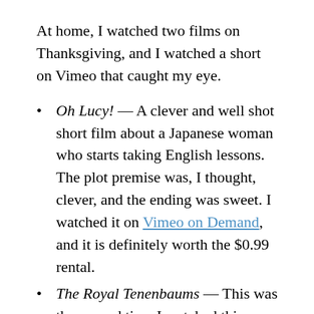At home, I watched two films on Thanksgiving, and I watched a short on Vimeo that caught my eye.
Oh Lucy! — A clever and well shot short film about a Japanese woman who starts taking English lessons. The plot premise was, I thought, clever, and the ending was sweet. I watched it on Vimeo on Demand, and it is definitely worth the $0.99 rental.
The Royal Tenenbaums — This was the second time I watched this movie, and I think it was even better the second time around. It has great acting, solid humor, a clever plot, and spot on music. The set and costume design, like other earlier Wes Anderson films, feels